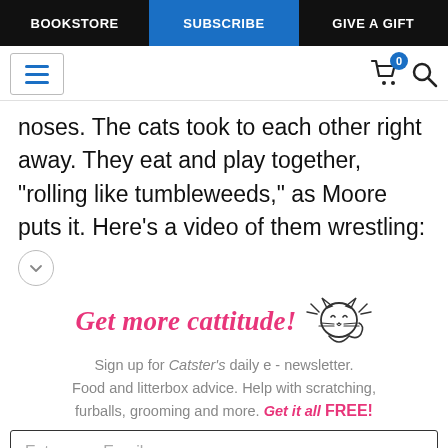BOOKSTORE | SUBSCRIBE | GIVE A GIFT
noses. The cats took to each other right away. They eat and play together, "rolling like tumbleweeds," as Moore puts it. Here's a video of them wrestling:
[Figure (infographic): Newsletter signup promo with illustrated cat and text: Get more cattitude! Sign up for Catster's daily e-newsletter. Food and litterbox advice. Help with scratching, furballs, grooming and more. Get it all FREE!]
Enter your Email
YES! SIGN ME UP